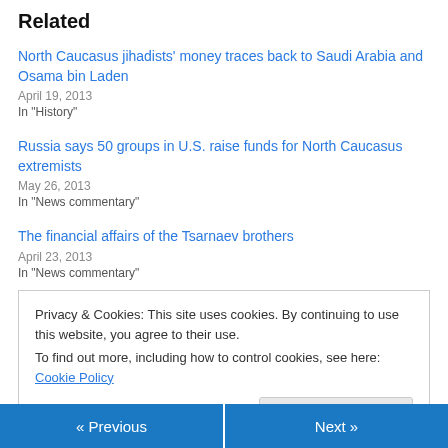Related
North Caucasus jihadists' money traces back to Saudi Arabia and Osama bin Laden
April 19, 2013
In "History"
Russia says 50 groups in U.S. raise funds for North Caucasus extremists
May 26, 2013
In "News commentary"
The financial affairs of the Tsarnaev brothers
April 23, 2013
In "News commentary"
Privacy & Cookies: This site uses cookies. By continuing to use this website, you agree to their use.
To find out more, including how to control cookies, see here: Cookie Policy
« Previous    Next »